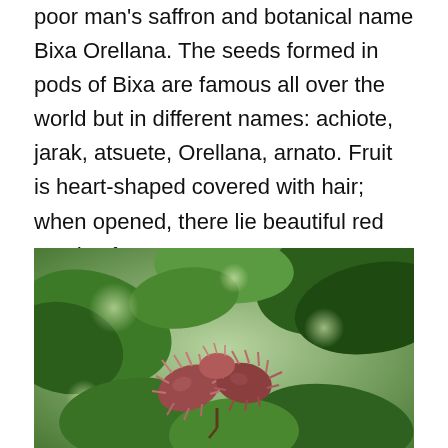poor man's saffron and botanical name Bixa Orellana. The seeds formed in pods of Bixa are famous all over the world but in different names: achiote, jarak, atsuete, Orellana, arnato. Fruit is heart-shaped covered with hair; when opened, there lie beautiful red seeds of annatto.
[Figure (photo): A close-up photograph of Bixa Orellana (annatto) fruit pods covered with reddish-pink spiny hairs, surrounded by large green leaves, showing the heart-shaped seed pods on the plant.]